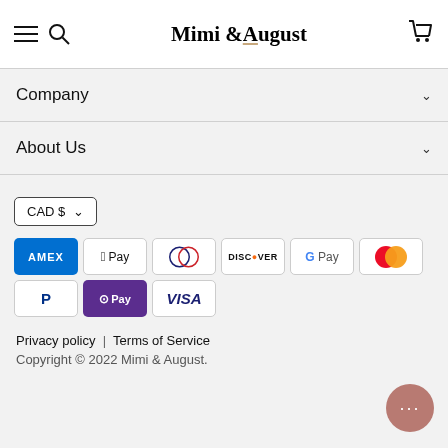Mimi & August
Company
About Us
[Figure (other): Currency selector button showing CAD $]
[Figure (other): Payment method icons: AMEX, Apple Pay, Diners, Discover, G Pay, Mastercard, PayPal, O Pay, VISA]
Privacy policy | Terms of Service
Copyright © 2022 Mimi & August.